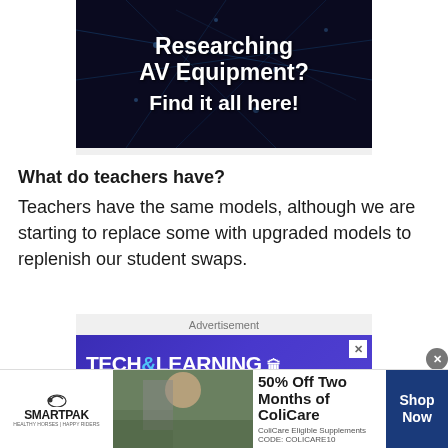[Figure (other): Dark blue/black tech background advertisement banner with text 'Researching AV Equipment? Find it all here!' in white bold text]
What do teachers have?
Teachers have the same models, although we are starting to replace some with upgraded models to replenish our student swaps.
[Figure (other): Tech & Learning University advertisement banner with blue/purple background showing logo and university name]
[Figure (other): SmartPak bottom sticky advertisement: 50% Off Two Months of ColiCare, ColiCare Eligible Supplements CODE: COLICARE10, Shop Now button]